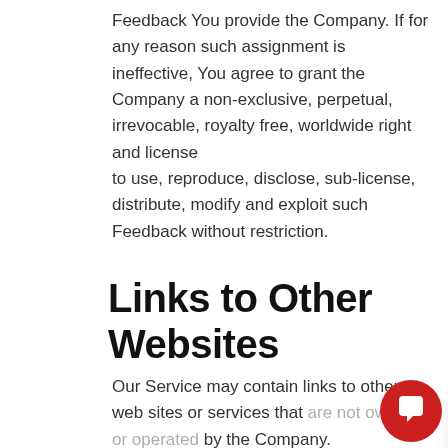Feedback You provide the Company. If for any reason such assignment is ineffective, You agree to grant the Company a non-exclusive, perpetual, irrevocable, royalty free, worldwide right and license to use, reproduce, disclose, sub-license, distribute, modify and exploit such Feedback without restriction.
Links to Other Websites
Our Service may contain links to other web sites or services that are not owned or operated by the Company.
The Company has no control over, and assumes no responsibility for, the content, privacy policies or practices of any third party web sites or